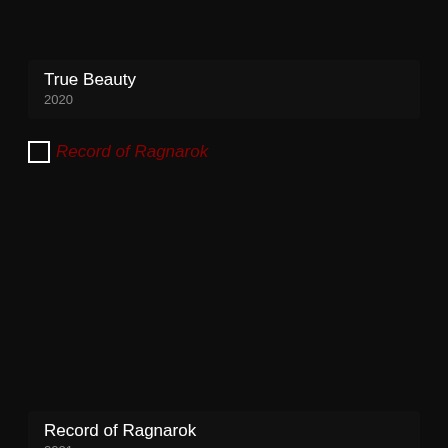[Figure (screenshot): Card showing title 'True Beauty' with year '2020' on dark background]
Record of Ragnarok
[Figure (screenshot): Card showing title 'Record of Ragnarok' with year '2021' on dark background]
The Daily Life of the Immortal King